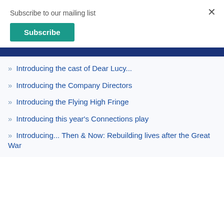Subscribe to our mailing list
×
Subscribe
» Introducing the cast of Dear Lucy...
» Introducing the Company Directors
» Introducing the Flying High Fringe
» Introducing this year's Connections play
» Introducing... Then & Now: Rebuilding lives after the Great War